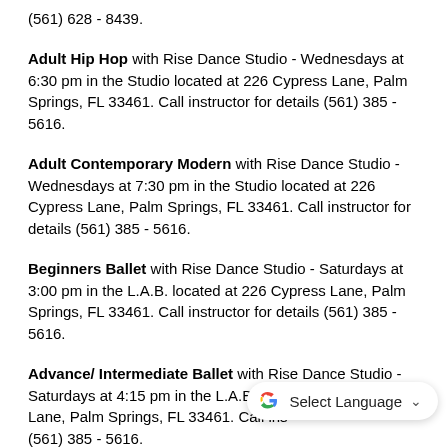(561) 628 - 8439.
Adult Hip Hop with Rise Dance Studio - Wednesdays at 6:30 pm in the Studio located at 226 Cypress Lane, Palm Springs, FL 33461. Call instructor for details (561) 385 - 5616.
Adult Contemporary Modern with Rise Dance Studio - Wednesdays at 7:30 pm in the Studio located at 226 Cypress Lane, Palm Springs, FL 33461. Call instructor for details (561) 385 - 5616.
Beginners Ballet with Rise Dance Studio - Saturdays at 3:00 pm in the L.A.B. located at 226 Cypress Lane, Palm Springs, FL 33461. Call instructor for details (561) 385 - 5616.
Advance/ Intermediate Ballet with Rise Dance Studio - Saturdays at 4:15 pm in the L.A.B. located at 226 Cypress Lane, Palm Springs, FL 33461. Call instructor for details (561) 385 - 5616.